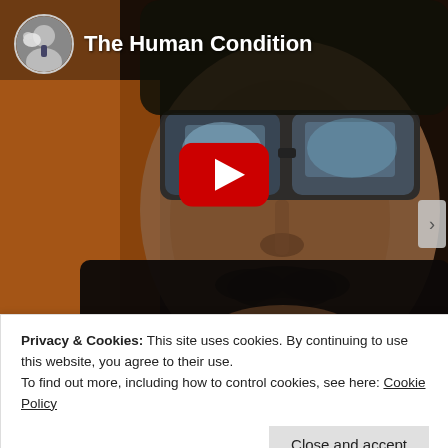[Figure (screenshot): YouTube video thumbnail showing a close-up of a man with large sunglasses and a mustache, lit by a screen glow. Channel badge in upper left with small avatar photo and title 'The Human Condition'. Red YouTube play button centered on image.]
Privacy & Cookies: This site uses cookies. By continuing to use this website, you agree to their use.
To find out more, including how to control cookies, see here: Cookie Policy
Close and accept